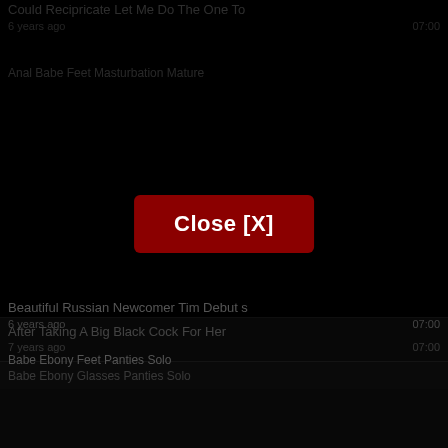Could Recipricate Let Me Do The One To
6 years ago  07:00
[Figure (screenshot): Broken image thumbnail placeholder with alt text: Anal Babe Feet Masturbation Mature]
Beautiful Russian Newcomer Tim Debut s
6 years ago  07:00
[Figure (screenshot): Broken image thumbnail placeholder with alt text: Babe Ebony Feet Panties Solo]
Close [X]
After Taking A Big Black Cock For Her
7 years ago  07:00
[Figure (screenshot): Broken image thumbnail placeholder with alt text: Babe Ebony Glasses Panties Solo]